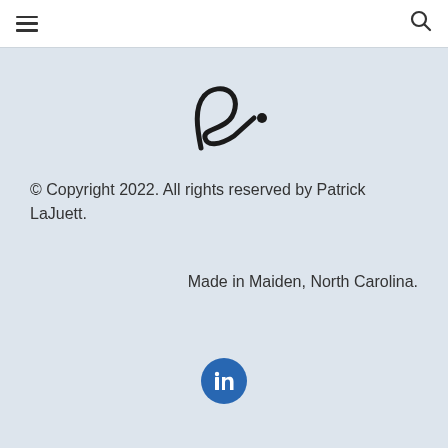Navigation bar with hamburger menu and search icon
[Figure (logo): Stylized handwritten logo resembling a cursive 'P' or '2' with a dot, in black ink on light blue background]
© Copyright 2022. All rights reserved by Patrick LaJuett.
Made in Maiden, North Carolina.
[Figure (logo): LinkedIn social media icon — white 'in' letters inside a blue circle]